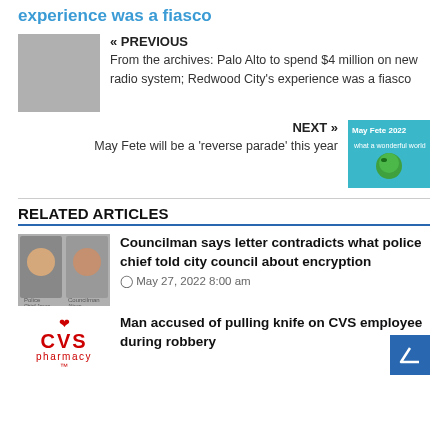experience was a fiasco
« PREVIOUS
From the archives: Palo Alto to spend $4 million on new radio system; Redwood City's experience was a fiasco
NEXT »
May Fete will be a 'reverse parade' this year
RELATED ARTICLES
Councilman says letter contradicts what police chief told city council about encryption
May 27, 2022 8:00 am
Man accused of pulling knife on CVS employee during robbery